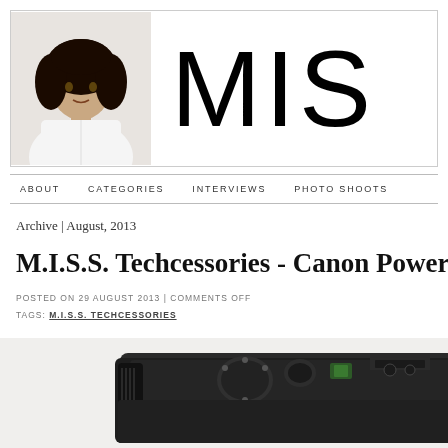[Figure (photo): Blog header with woman's portrait photo on left and large 'MIS' logo text on right, inside a bordered box]
ABOUT   CATEGORIES   INTERVIEWS   PHOTO SHOOTS
Archive | August, 2013
M.I.S.S. Techcessories - Canon Powersh
POSTED ON 29 AUGUST 2013 | COMMENTS OFF
TAGS: M.I.S.S. TECHCESSORIES
[Figure (photo): Top portion of a Canon PowerShot camera body showing dials and controls]